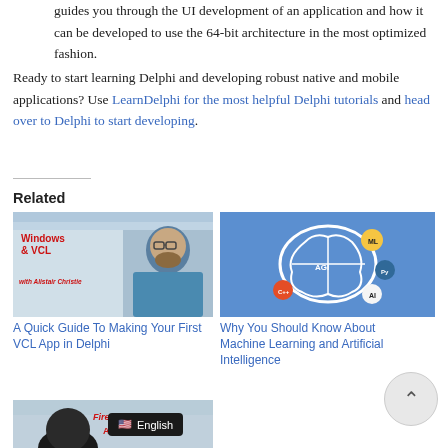guides you through the UI development of an application and how it can be developed to use the 64-bit architecture in the most optimized fashion.
Ready to start learning Delphi and developing robust native and mobile applications? Use LearnDelphi for the most helpful Delphi tutorials and head over to Delphi to start developing.
Related
[Figure (screenshot): Windows & VCL with Alistair Christie tutorial thumbnail showing a man with beard and glasses against a Delphi IDE background]
[Figure (illustration): Blue background with a white brain diagram showing ML, AGI, AI, C++ and Python icons — Machine Learning and AI illustration]
A Quick Guide To Making Your First VCL App in Delphi
Why You Should Know About Machine Learning and Artificial Intelligence
[Figure (screenshot): FireMonkey Android tutorial thumbnail partially visible at bottom of page]
English